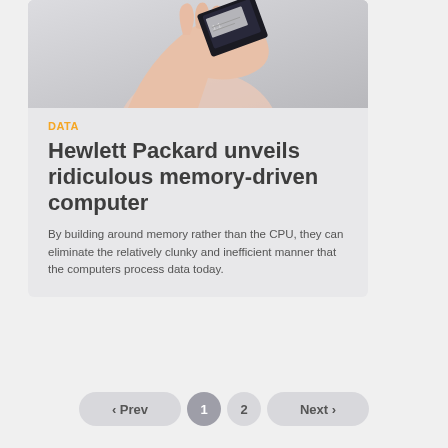[Figure (photo): A hand holding a small black memory card or chip against a light grey background]
DATA
Hewlett Packard unveils ridiculous memory-driven computer
By building around memory rather than the CPU, they can eliminate the relatively clunky and inefficient manner that the computers process data today.
‹ Prev  1  2  Next ›